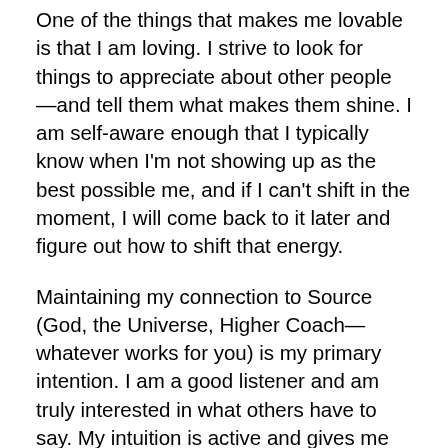One of the things that makes me lovable is that I am loving. I strive to look for things to appreciate about other people—and tell them what makes them shine. I am self-aware enough that I typically know when I'm not showing up as the best possible me, and if I can't shift in the moment, I will come back to it later and figure out how to shift that energy.
Maintaining my connection to Source (God, the Universe, Higher Coach—whatever works for you) is my primary intention. I am a good listener and am truly interested in what others have to say. My intuition is active and gives me great insights into what people aren't saying.
When I find something really amusing, I cackle and snort, which usually makes me laugh even harder. I have simple, but elegant taste for how I dress and present myself. I'm a